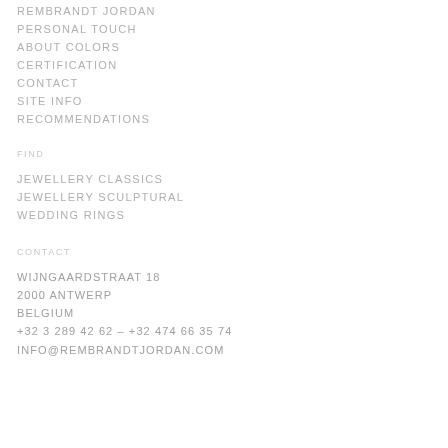REMBRANDT JORDAN
PERSONAL TOUCH
ABOUT COLORS
CERTIFICATION
CONTACT
SITE INFO
RECOMMENDATIONS
FIND
JEWELLERY CLASSICS
JEWELLERY SCULPTURAL
WEDDING RINGS
CONTACT
WIJNGAARDSTRAAT 18
2000 ANTWERP
BELGIUM
+32 3 289 42 62 – +32 474 66 35 74
INFO@REMBRANDTJORDAN.COM